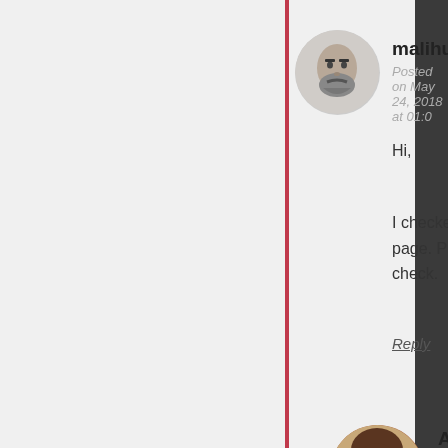malihu
Posted on May 24, 2018 at 01:0
Hi,
I checked your URL and I can page. Please let me know wh check.
Reply
Alyssa Alber
Posted on May 24, 2018
Hello,
Thank you for the reph privately but here's the
https://photoalbumsdir